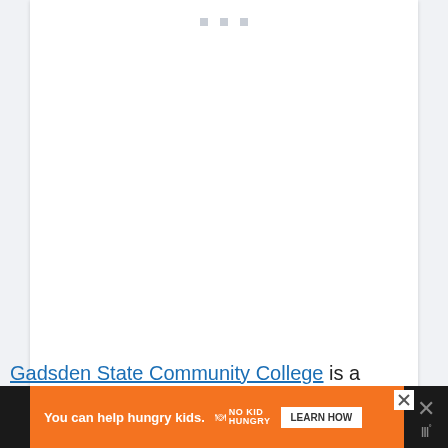[Figure (screenshot): A white content card/embed placeholder with three small grey squares at the top center, and a grey watermark logo (stylized W with superscript circle) at the bottom right. The card fills most of the upper portion of the page on a light grey background.]
Gadsden State Community College is a
[Figure (other): Advertisement banner: orange background with text 'You can help hungry kids.' and No Kid Hungry logo with 'LEARN HOW' button. Dark area on right with X close button and watermark logo.]